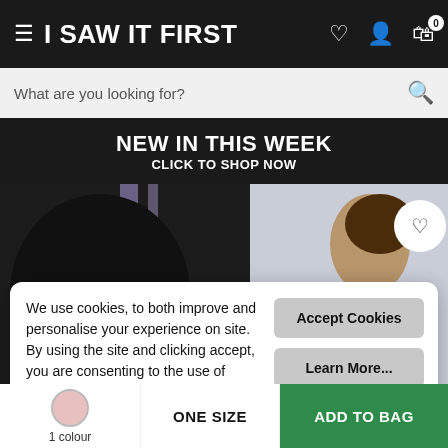I SAW IT FIRST
What are you looking for?
NEW IN THIS WEEK
CLICK TO SHOP NOW
[Figure (photo): Fashion model wearing dark clothing, with a second model partially visible on the right side against a light background]
We use cookies, to both improve and personalise your experience on site. By using the site and clicking accept, you are consenting to the use of cookies.
Accept Cookies
Learn More...
£4.00
1 colour
ONE SIZE
ADD TO BAG